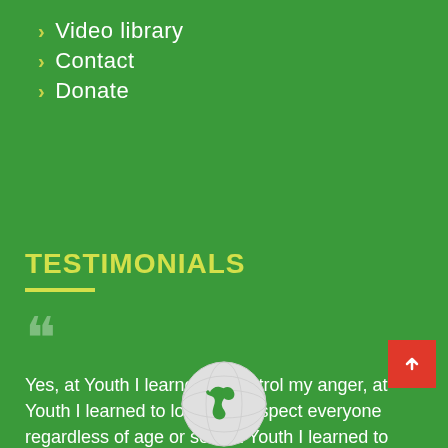> Video library
> Contact
> Donate
TESTIMONIALS
Yes, at Youth I learned to control my anger, at Youth I learned to love and respect everyone regardless of age or sex, at Youth I learned to give to others without expecting anything in return